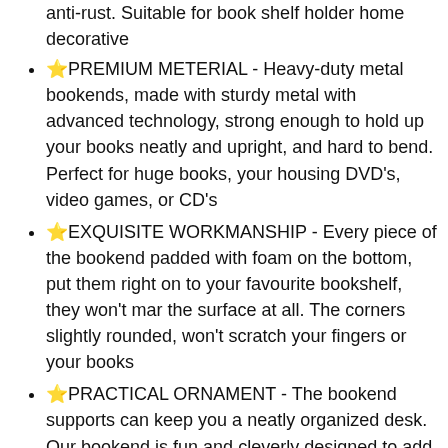anti-rust. Suitable for book shelf holder home decorative
⭐PREMIUM METERIAL - Heavy-duty metal bookends, made with sturdy metal with advanced technology, strong enough to hold up your books neatly and upright, and hard to bend. Perfect for huge books, your housing DVD's, video games, or CD's
⭐EXQUISITE WORKMANSHIP - Every piece of the bookend padded with foam on the bottom, put them right on to your favourite bookshelf, they won't mar the surface at all. The corners slightly rounded, won't scratch your fingers or your books
⭐PRACTICAL ORNAMENT - The bookend supports can keep you a neatly organized desk. Our bookend is fun and cleverly designed to add charm to your study. So it is both a kind of artistical work and a practical everyday life